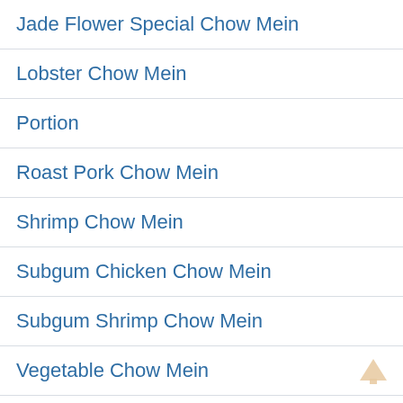Jade Flower Special Chow Mein
Lobster Chow Mein
Portion
Roast Pork Chow Mein
Shrimp Chow Mein
Subgum Chicken Chow Mein
Subgum Shrimp Chow Mein
Vegetable Chow Mein
White Meat Chicken Chow Mein
Combination Plates
Bee Fo Fo Spare Ribs